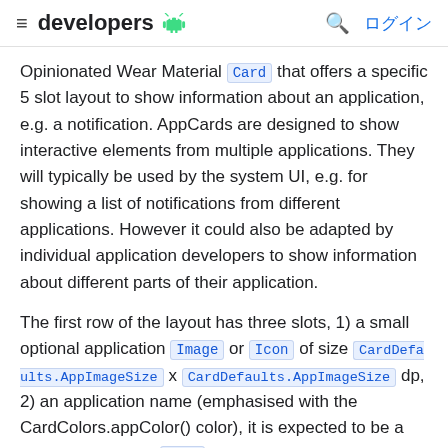≡ developers [android logo] 🔍 ログイン
Opinionated Wear Material Card that offers a specific 5 slot layout to show information about an application, e.g. a notification. AppCards are designed to show interactive elements from multiple applications. They will typically be used by the system UI, e.g. for showing a list of notifications from different applications. However it could also be adapted by individual application developers to show information about different parts of their application.
The first row of the layout has three slots, 1) a small optional application Image or Icon of size CardDefaults.AppImageSize x CardDefaults.AppImageSize dp, 2) an application name (emphasised with the CardColors.appColor() color), it is expected to be a short start aligned Text composable, and 3) the time that the application activity has occurred which will be shown on the top row of the card, this is expected to be an end